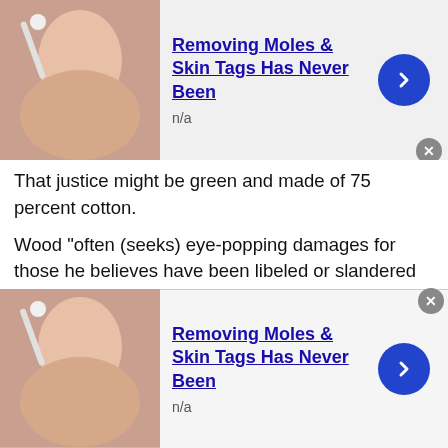[Figure (other): Top advertisement banner: woman's face with mole removal treatment, title 'Removing Moles & Skin Tags Has Never Been', subtitle 'n/a', blue arrow button]
That justice might be green and made of 75 percent cotton.
Wood "often (seeks) eye-popping damages for those he believes have been libeled or slandered in the press," according to a 2011 Washington Post article about defense of Republican presidential candidate Herman C (Cain had been facing accusations of sexual harassment derailed his campaign.)
Other notable clients include the family of JonBenet Ramsey, who were suspects in the child pageant queen's murder, and Richard Jewell, a Centennial Olympic Park guard misidentified as having bombed his workplace in 1996,
[Figure (other): Bottom advertisement banner: same woman's face with mole removal treatment, title 'Removing Moles & Skin Tags Has Never Been', subtitle 'n/a', blue arrow button]